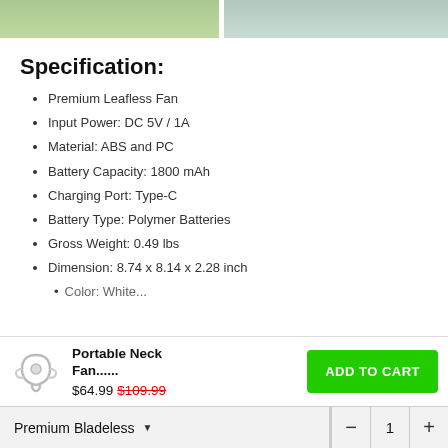[Figure (photo): Two cropped product lifestyle photos at top: left shows person with leafless fan, right shows person using neck fan]
Specification:
Premium Leafless Fan
Input Power: DC 5V / 1A
Material: ABS and PC
Battery Capacity: 1800 mAh
Charging Port: Type-C
Battery Type: Polymer Batteries
Gross Weight: 0.49 lbs
Dimension: 8.74 x 8.14 x 2.28 inch
Portable Neck Fan..... $64.99 $109.99 ADD TO CART
Premium Bladeless  -  1  +